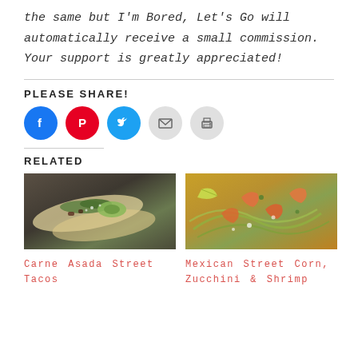the same but I'm Bored, Let's Go will automatically receive a small commission. Your support is greatly appreciated!
PLEASE SHARE!
[Figure (other): Social share buttons: Facebook (blue circle), Pinterest (red circle), Twitter (cyan circle), Email (grey circle), Print (grey circle)]
RELATED
[Figure (photo): Food photo of Carne Asada Street Tacos - tacos with meat, avocado, and herbs on a wooden board]
Carne Asada Street Tacos
[Figure (photo): Food photo of Mexican Street Corn, Zucchini & Shrimp - shrimp with corn, zucchini noodles and lime]
Mexican Street Corn, Zucchini & Shrimp